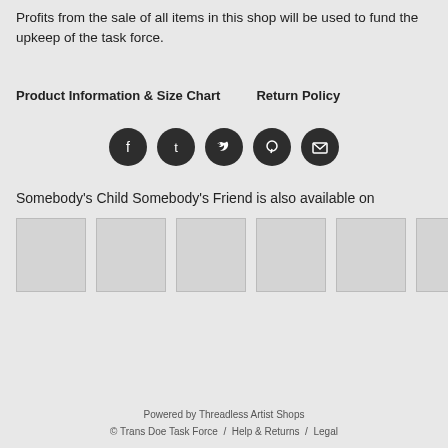Profits from the sale of all items in this shop will be used to fund the upkeep of the task force.
Product Information & Size Chart    Return Policy
[Figure (other): Row of five social media icon buttons (Facebook, Tumblr, Twitter, Pinterest, Email) as dark circular icons]
Somebody's Child Somebody's Friend is also available on
[Figure (other): Row of six product thumbnail placeholder images (light gray squares)]
Powered by Threadless Artist Shops
© Trans Doe Task Force  /  Help & Returns  /  Legal